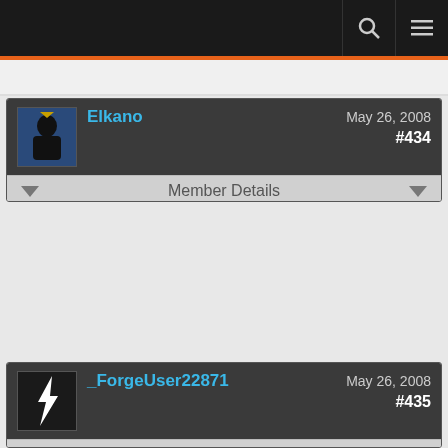Navigation bar with search and menu icons
Elkano  May 26, 2008  #434
Member Details
Since 2.4(?) mages can get 100% armor fromInt; StatLogic seems to still go for only 50%.
_ForgeUser22871  May 26, 2008  #435
Member Details
RatingBuster is the best item-compare assistant i ever found ...